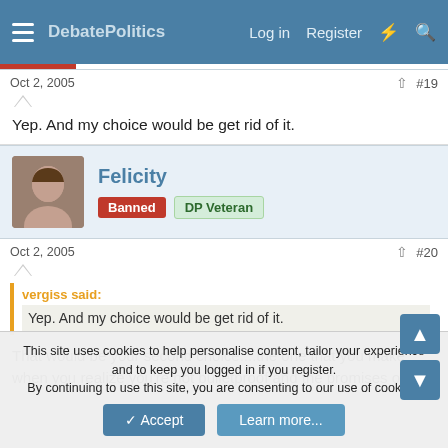Log in  Register
Oct 2, 2005  #19
Yep. And my choice would be get rid of it.
Felicity  Banned  DP Veteran
Oct 2, 2005  #20
vergiss said:
Yep. And my choice would be get rid of it.
That would be your second choice....the one that you make when you realize you're not bulletproof and the promises of
This site uses cookies to help personalise content, tailor your experience and to keep you logged in if you register.
By continuing to use this site, you are consenting to our use of cookies.